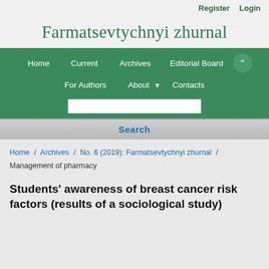Register   Login
Farmatsevtychnyi zhurnal
Home   Current   Archives   Editorial Board   For Authors   About   Contacts
Search
Home / Archives / No. 6 (2019): Farmatsevtychnyi zhurnal / Management of pharmacy
Students' awareness of breast cancer risk factors (results of a sociological study)